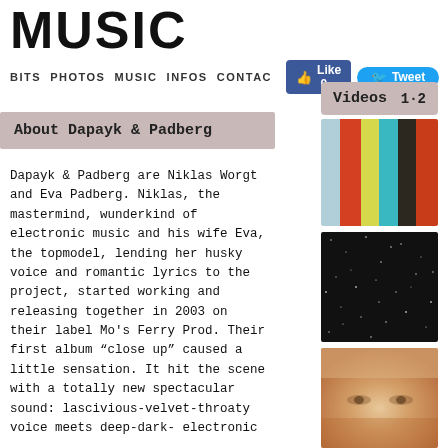Music
BITS  PHOTOS  MUSIC  INFOS  CONTACT
Like 0
Tweet
Videos  1·2
[Figure (photo): Colorful vertical stripes album art - light blue, orange/red, yellow-green, cyan, dark brown/black, orange-red]
[Figure (photo): Dark image with scattered white specks/stars on black background, like starfield or noise]
[Figure (photo): Close-up soft focus photo of a face/eyes with warm golden/orange tones]
About Dapayk & Padberg
Dapayk & Padberg are Niklas Worgt and Eva Padberg. Niklas, the mastermind, wunderkind of electronic music and his wife Eva, the topmodel, lending her husky voice and romantic lyrics to the project, started working and releasing together in 2003 on their label Mo's Ferry Prod. Their first album "close up" caused a little sensation. It hit the scene with a totally new spectacular sound: lascivious-velvet-throaty voice meets deep-dark- electronic